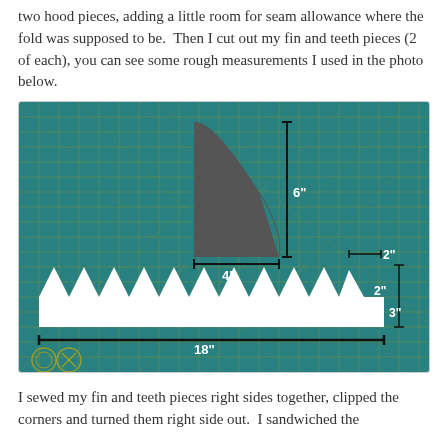two hood pieces, adding a little room for seam allowance where the fold was supposed to be.  Then I cut out my fin and teeth pieces (2 of each), you can see some rough measurements I used in the photo below.
[Figure (photo): Photo on a green cutting mat showing a dark gray shark fin fabric piece (labeled 6 inches tall, 4 inches wide) and a long white fabric teeth strip (labeled 18 inches long, with teeth that are 2 inches tall and 3 inches wide at base, with a 2 inch flat top reference).]
I sewed my fin and teeth pieces right sides together, clipped the corners and turned them right side out.  I sandwiched the